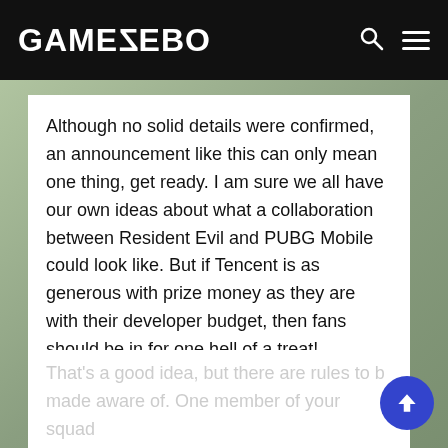GAMEZEBO
Although no solid details were confirmed, an announcement like this can only mean one thing, get ready. I am sure we all have our own ideas about what a collaboration between Resident Evil and PUBG Mobile could look like. But if Tencent is as generous with prize money as they are with their developer budget, then fans should be in for one hell of a treat!
I want to enter next year!
That's a good idea, but there are rules to be made aware of. One member of your squad